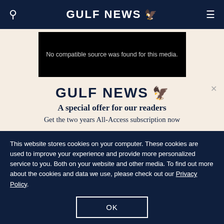GULF NEWS
[Figure (screenshot): Black video player box showing error message: No compatible source was found for this media.]
No compatible source was found for this media.
GULF NEWS
A special offer for our readers
Get the two years All-Access subscription now
This website stores cookies on your computer. These cookies are used to improve your experience and provide more personalized service to you. Both on your website and other media. To find out more about the cookies and data we use, please check out our Privacy Policy.
OK